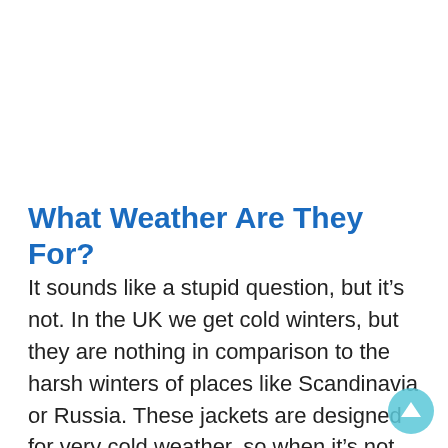What Weather Are They For?
It sounds like a stupid question, but it’s not. In the UK we get cold winters, but they are nothing in comparison to the harsh winters of places like Scandinavia or Russia. These jackets are designed for very cold weather, so when it’s not really cold out then it’s not the choice for your outerwear. Depending on how harsh the winters are, you may get 4 months a year out of